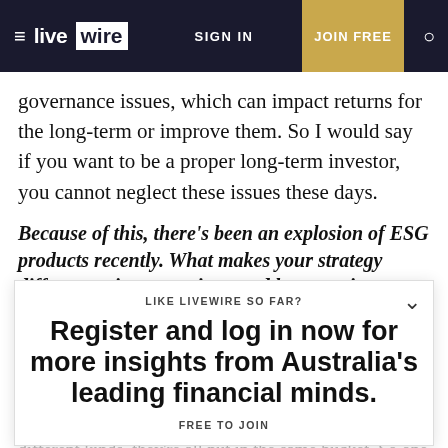livewire | SIGN IN | JOIN FREE
governance issues, which can impact returns for the long-term or improve them. So I would say if you want to be a proper long-term investor, you cannot neglect these issues these days.
Because of this, there's been an explosion of ESG products recently. What makes your strategy different to its competitors and how can investors avoid the greenwash?
I think the first mistake is that people don't understand what kind of ESG you're looking for. Because there are different kinds, they're all put in the same bucket. So one form of ESG investing is impact investing and in my view, that's where your primary goal is not making a return on your money, the primary goal is to change
LIKE LIVEWIRE SO FAR?
Register and log in now for more insights from Australia's leading financial minds.
FREE TO JOIN